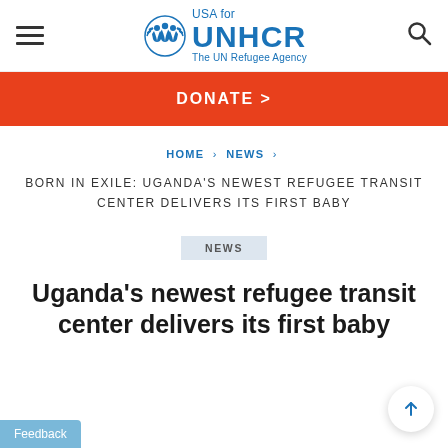[Figure (logo): USA for UNHCR – The UN Refugee Agency logo with emblem]
DONATE >
HOME › NEWS ›
BORN IN EXILE: UGANDA'S NEWEST REFUGEE TRANSIT CENTER DELIVERS ITS FIRST BABY
NEWS
Uganda's newest refugee transit center delivers its first baby